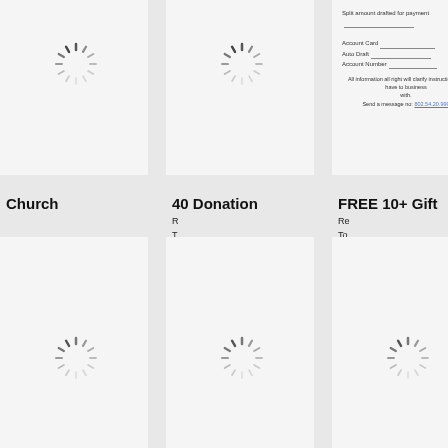[Figure (other): Loading spinner icon - top left cell]
[Figure (other): Loading spinner icon - top middle cell]
Split amount drafted for payment: ___
Account Card: ___
Auto Draft: ___
Account Number: ___
All information all right will clarify instructions no have to business with.
Send a message no: 802.54.20.999
Church
40 Donation
FREE 10+ Gift
R
T
L
[I
P
Re
To
Pl
Ex
[Figure (other): Loading spinner icon - bottom left cell]
[Figure (other): Loading spinner icon - bottom middle cell]
[Figure (other): Loading spinner icon - bottom right cell]